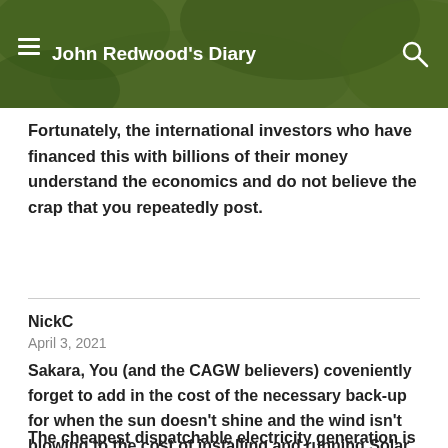John Redwood's Diary
Fortunately, the international investors who have financed this with billions of their money understand the economics and do not believe the crap that you repeatedly post.
NickC
April 3, 2021
Sakara, You (and the CAGW believers) coveniently forget to add in the cost of the necessary back-up for when the sun doesn't shine and the wind isn't blowing to the cost of installing and running Solar and Wind.
The cheapest dispatchable electricity generation is by coal,